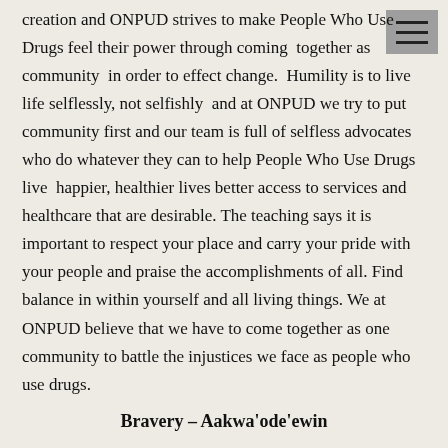creation and ONPUD strives to make People Who Use Drugs feel their power through coming together as community in order to effect change. Humility is to live life selflessly, not selfishly and at ONPUD we try to put community first and our team is full of selfless advocates who do whatever they can to help People Who Use Drugs live happier, healthier lives better access to services and healthcare that are desirable. The teaching says it is important to respect your place and carry your pride with your people and praise the accomplishments of all. Find balance in within yourself and all living things. We at ONPUD believe that we have to come together as one community to battle the injustices we face as people who use drugs.
Bravery – Aakwa'ode'ewin
Bravery is represented by the bear. The mother bear is courageous faces her fears and challenges while protecting her young. ONPUD believes as People Who Use Drugs, we have had to take care of our communities while our own lives are being affected by issues related to the criminalization of drug use but that is what makes us strong and powerful. The bear shows us how to live a balanced life with rest, survival and play and at